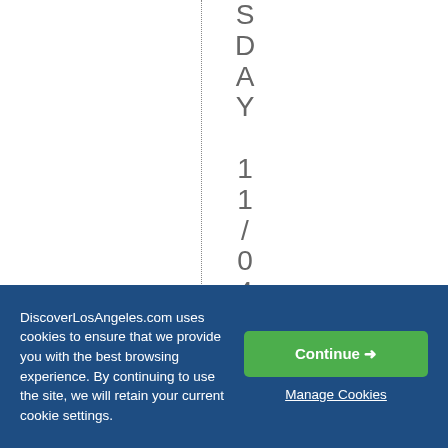SDAY 11/04/2015 Di
DiscoverLosAngeles.com uses cookies to ensure that we provide you with the best browsing experience. By continuing to use the site, we will retain your current cookie settings.
Continue →
Manage Cookies